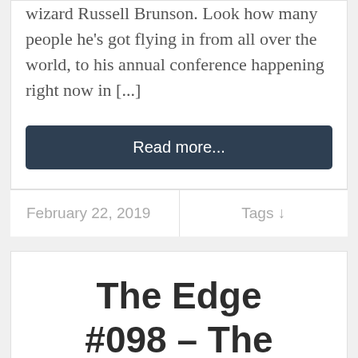wizard Russell Brunson. Look how many people he's got flying in from all over the world, to his annual conference happening right now in [...]
Read more...
February 22, 2019
Tags ↓
The Edge #098 – The